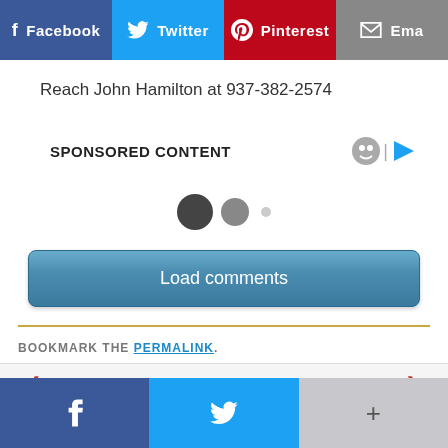[Figure (screenshot): Social sharing buttons bar: Facebook (blue), Twitter (light blue), Pinterest (red), Email (grey)]
Reach John Hamilton at 937-382-2574
SPONSORED CONTENT
[Figure (other): Loading animation dots: large dark circle, medium grey circle, small light dot]
[Figure (other): Load comments button (blue rounded rectangle)]
BOOKMARK THE PERMALINK.
[Figure (other): Previous / Next navigation bar]
[Figure (other): Bottom social bar with Facebook, Twitter, and plus buttons]